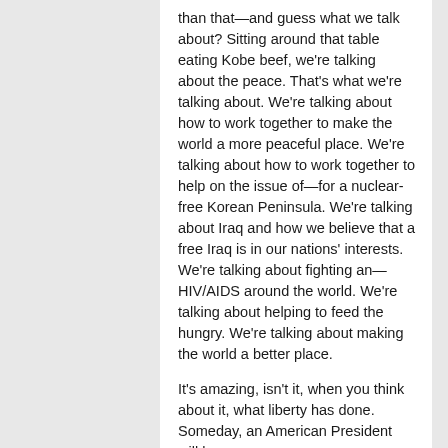than that—and guess what we talk about? Sitting around that table eating Kobe beef, we're talking about the peace. That's what we're talking about. We're talking about how to work together to make the world a more peaceful place. We're talking about how to work together to help on the issue of—for a nuclear-free Korean Peninsula. We're talking about Iraq and how we believe that a free Iraq is in our nations' interests. We're talking about fighting an—HIV/AIDS around the world. We're talking about helping to feed the hungry. We're talking about making the world a better place.
It's amazing, isn't it, when you think about it, what liberty has done. Someday, an American President will be